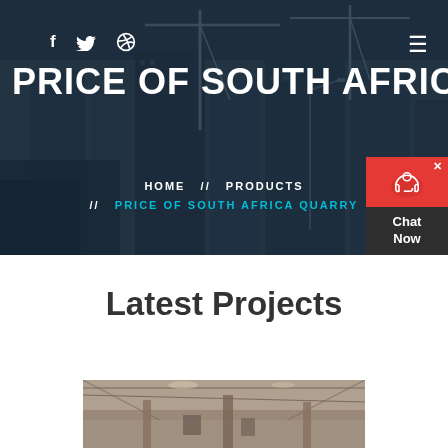[Figure (photo): Hero banner showing construction site with cranes and tall buildings under construction against a dark blue-grey sky, with dark overlay]
f           ☰
PRICE OF SOUTH AFRICA QUARRY
HOME  //  PRODUCTS  //  PRICE OF SOUTH AFRICA QUARRY
[Figure (other): Red chat widget with support icon and Chat Now label in dark grey box with X close button]
Latest Projects
[Figure (photo): Construction/industrial interior scene partially visible at bottom of page]